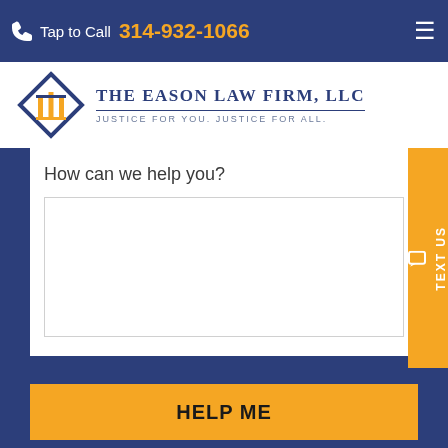Tap to Call 314-932-1066
[Figure (logo): The Eason Law Firm, LLC logo with diamond/pillar icon and tagline: Justice for You. Justice for All.]
How can we help you?
HELP ME